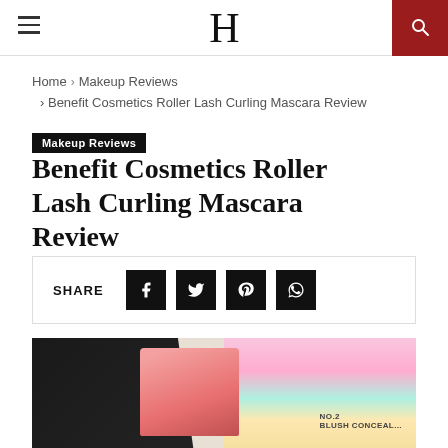H
Home > Makeup Reviews > Benefit Cosmetics Roller Lash Curling Mascara Review
Makeup Reviews
Benefit Cosmetics Roller Lash Curling Mascara Review
SHARE
[Figure (photo): Benefit Cosmetics Roller Lash mascara tubes (black) alongside a pink mascara wand and colorful notepads/palettes on a decorative white surface]